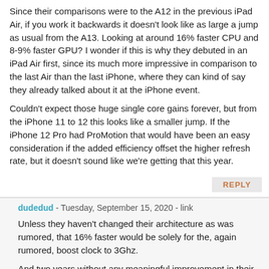Since their comparisons were to the A12 in the previous iPad Air, if you work it backwards it doesn't look like as large a jump as usual from the A13. Looking at around 16% faster CPU and 8-9% faster GPU? I wonder if this is why they debuted in an iPad Air first, since its much more impressive in comparison to the last Air than the last iPhone, where they can kind of say they already talked about it at the iPhone event.
Couldn't expect those huge single core gains forever, but from the iPhone 11 to 12 this looks like a smaller jump. If the iPhone 12 Pro had ProMotion that would have been an easy consideration if the added efficiency offset the higher refresh rate, but it doesn't sound like we're getting that this year.
REPLY
dudedud - Tuesday, September 15, 2020 - link
Unless they haven't changed their architecture as was rumored, that 16% faster would be solely for the, again rumored, boost clock to 3Ghz.
And two years without any meaningful improvement in their arch would be really really odd.
REPLY
tipoo - Tuesday, September 15, 2020 - link